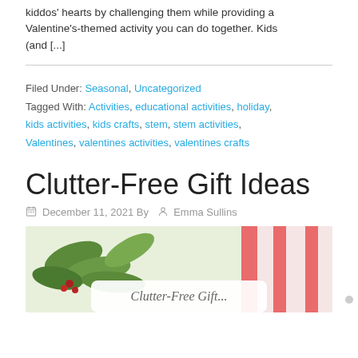kiddos' hearts by challenging them while providing a Valentine's-themed activity you can do together. Kids (and [...]
Filed Under: Seasonal, Uncategorized
Tagged With: Activities, educational activities, holiday, kids activities, kids crafts, stem, stem activities, Valentines, valentines activities, valentines crafts
Clutter-Free Gift Ideas
December 11, 2021 By Emma Sullins
[Figure (photo): Photo of holiday decorations with green leaves and red ribbon/candy cane striped fabric, with a cursive text overlay at the bottom reading 'Clutter-Free Gift...']